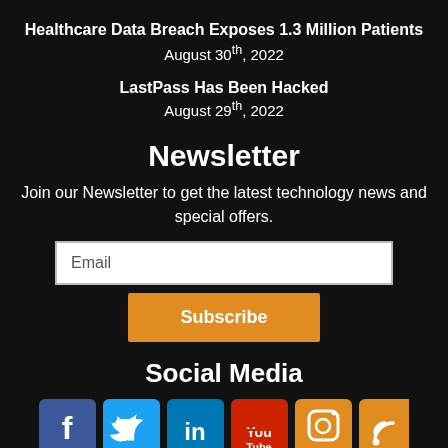Healthcare Data Breach Exposes 1.3 Million Patients
August 30th, 2022
LastPass Has Been Hacked
August 29th, 2022
Newsletter
Join our Newsletter to get the latest technology news and special offers.
Email
Subscribe
Social Media
[Figure (illustration): Social media icons: Facebook, Twitter, LinkedIn, YouTube, Instagram, RSS]